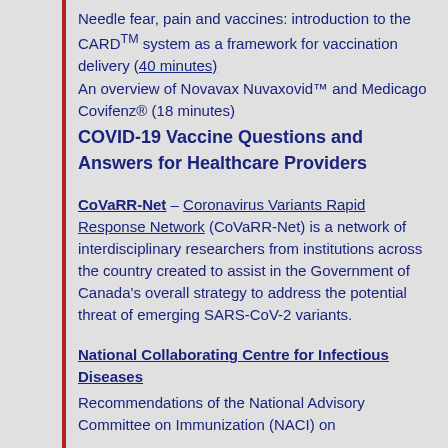Needle fear, pain and vaccines: introduction to the CARD™ system as a framework for vaccination delivery (40 minutes)
An overview of Novavax Nuvaxovid™ and Medicago Covifenz® (18 minutes)
COVID-19 Vaccine Questions and Answers for Healthcare Providers
CoVaRR-Net – Coronavirus Variants Rapid Response Network (CoVaRR-Net) is a network of interdisciplinary researchers from institutions across the country created to assist in the Government of Canada's overall strategy to address the potential threat of emerging SARS-CoV-2 variants.
National Collaborating Centre for Infectious Diseases
Recommendations of the National Advisory Committee on Immunization (NACI) on